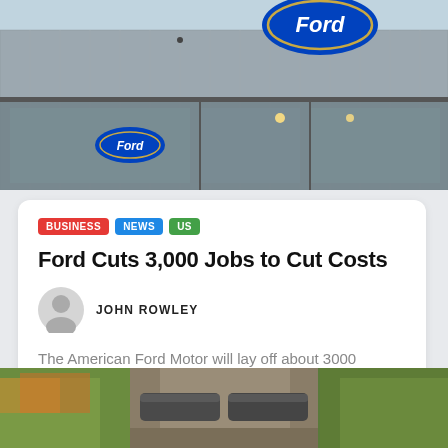[Figure (photo): Ford dealership building exterior with large Ford oval logo on roof, glass facade, partial Ford sign visible inside]
BUSINESS
NEWS
US
Ford Cuts 3,000 Jobs to Cut Costs
JOHN ROWLEY
The American Ford Motor will lay off about 3000 employees and temporary workers. The company wants to cut costs and accelerate the switch to electric...
READ MORE
[Figure (photo): Outdoor scenic photo showing large industrial pipes or drainage infrastructure between tree-lined path with autumn foliage]